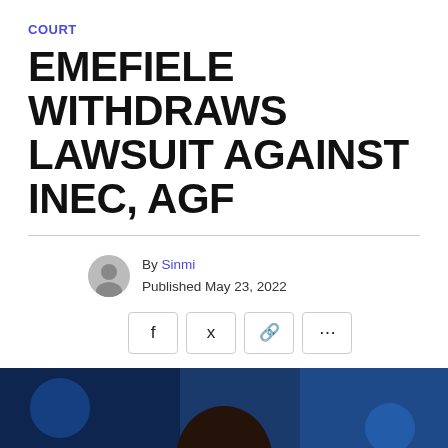COURT
EMEFIELE WITHDRAWS LAWSUIT AGAINST INEC, AGF
By Sinmi
Published May 23, 2022
[Figure (photo): Portrait photo of a man wearing glasses against a blue background, presumably Emefiele]